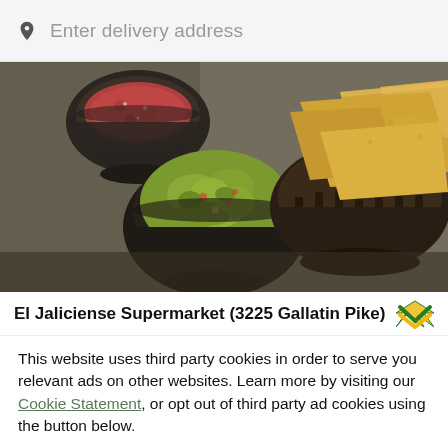Enter delivery address
[Figure (photo): Bowl of guacamole in a dark clay bowl, bowl of salsa in dark clay bowl, and basket of tortilla chips on a dark table surface.]
El Jaliciense Supermarket (3225 Gallatin Pike)
This website uses third party cookies in order to serve you relevant ads on other websites. Learn more by visiting our Cookie Statement, or opt out of third party ad cookies using the button below.
OPT OUT
GOT IT